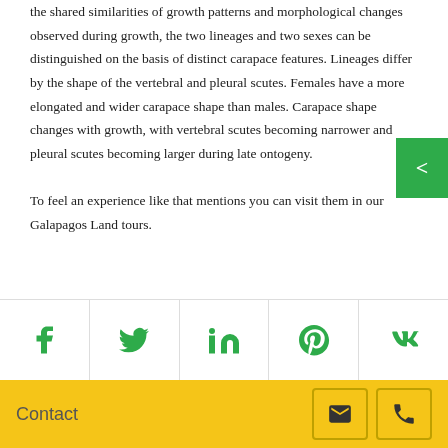the shared similarities of growth patterns and morphological changes observed during growth, the two lineages and two sexes can be distinguished on the basis of distinct carapace features. Lineages differ by the shape of the vertebral and pleural scutes. Females have a more elongated and wider carapace shape than males. Carapace shape changes with growth, with vertebral scutes becoming narrower and pleural scutes becoming larger during late ontogeny. To feel an experience like that mentions you can visit them in our Galapagos Land tours.
[Figure (other): Social media sharing icons: Facebook, Twitter, LinkedIn, Pinterest, VKontakte]
Contact